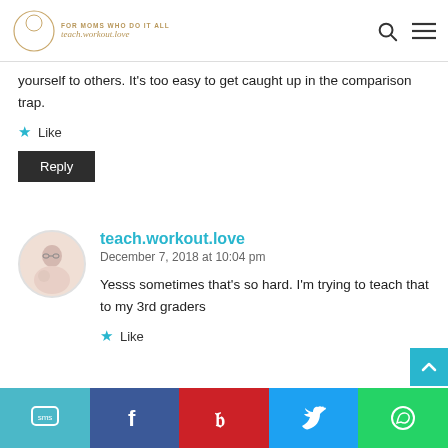FOR MOMS WHO DO IT ALL teach.workout.love
yourself to others. It’s too easy to get caught up in the comparison trap.
Like
Reply
teach.workout.love
December 7, 2018 at 10:04 pm
Yesss sometimes that’s so hard. I’m trying to teach that to my 3rd graders
Like